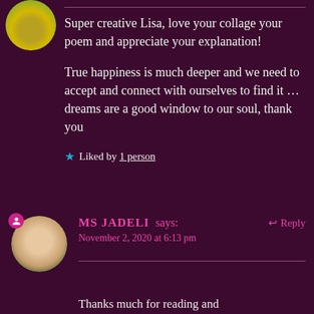[Figure (photo): Circular avatar photo showing yellow flowers against green background, top-left corner]
Super creative Lisa, love your collage your poem and appreciate your explanation!
True happiness is much deeper and we need to accept and connect with ourselves to find it … dreams are a good window to our soul, thank you
★ Liked by 1 person
[Figure (photo): Circular avatar photo of a smiling woman with dark hair, lower-left area]
MS JADELI says:
November 2, 2020 at 6:13 pm
↩ Reply
Thanks much for reading and